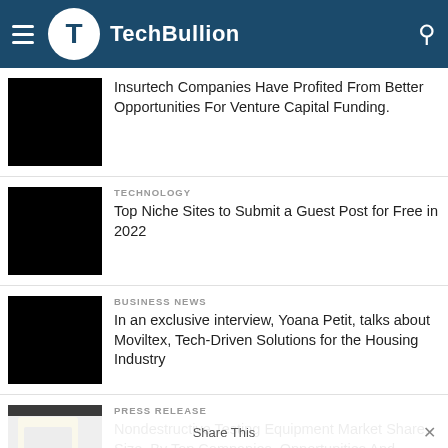TechBullion
Insurtech Companies Have Profited From Better Opportunities For Venture Capital Funding.
TECHNOLOGY
Top Niche Sites to Submit a Guest Post for Free in 2022
BUSINESS NEWS
In an exclusive interview, Yoana Petit, talks about Moviltex, Tech-Driven Solutions for the Housing Industry
PRESS RELEASE
Nondestructive Testing Equipment Market Share, Size, By Top Companies, Opportunities And Forecast 2030
Share This